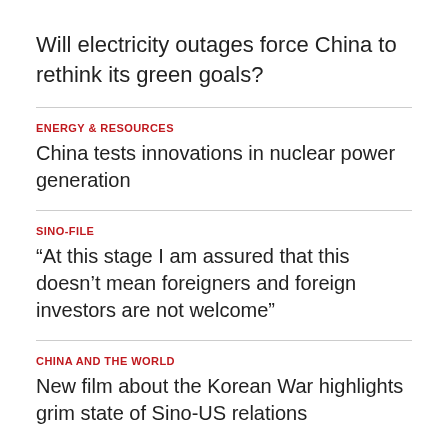Will electricity outages force China to rethink its green goals?
ENERGY & RESOURCES
China tests innovations in nuclear power generation
SINO-FILE
“At this stage I am assured that this doesn’t mean foreigners and foreign investors are not welcome”
CHINA AND THE WORLD
New film about the Korean War highlights grim state of Sino-US relations